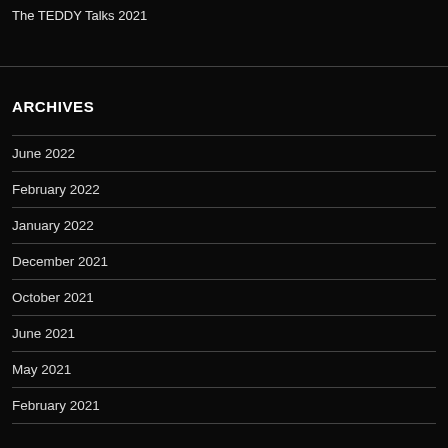The TEDDY Talks 2021
ARCHIVES
June 2022
February 2022
January 2022
December 2021
October 2021
June 2021
May 2021
February 2021